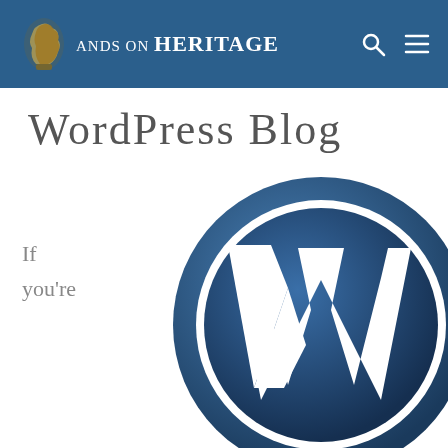Hands on Heritage
WordPress Blog
If you're
[Figure (logo): WordPress logo — large blue circle with white 'W' lettermark, shown partially cropped at the bottom of the page]